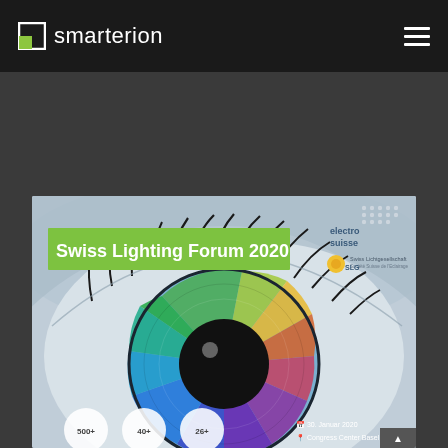smarterion (navigation header with hamburger menu)
[Figure (photo): Swiss Lighting Forum 2020 promotional image featuring a close-up macro photo of a human eye with a multicolored iris (rainbow: green, yellow, orange, red, violet, blue sectors) on a light blue-grey background. A green banner overlays the top-left with text 'Swiss Lighting Forum 2020'. In the top-right are the Electro Suisse and SLG logos. At the bottom left are three white circular badges showing '500+', '40+', '26+'. Bottom right shows date '30. Januar 2020' and location 'Congress Center Basel'.]